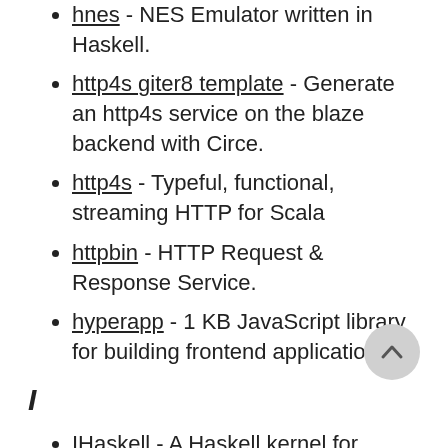hnes - NES Emulator written in Haskell.
http4s giter8 template - Generate an http4s service on the blaze backend with Circe.
http4s - Typeful, functional, streaming HTTP for Scala
httpbin - HTTP Request & Response Service.
hyperapp - 1 KB JavaScript library for building frontend applications.
I
IHaskell - A Haskell kernel for IPython. (Jupyter Notebooks)
IPython Parallel - Interactive Parallel Computing in Python.
Iconfinder - the largest collection of premium